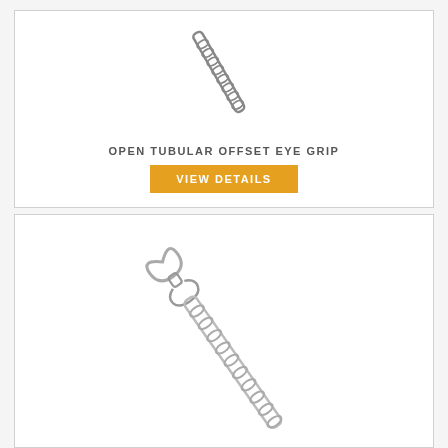[Figure (photo): Product photo of an open tubular offset eye grip wire/cable grip tool, shown diagonally on white background, with chain-like mesh body]
OPEN TUBULAR OFFSET EYE GRIP
VIEW DETAILS
[Figure (photo): Product photo of an open tubular offset eye grip with a teardrop loop at the top and chain-like mesh body extending diagonally downward]